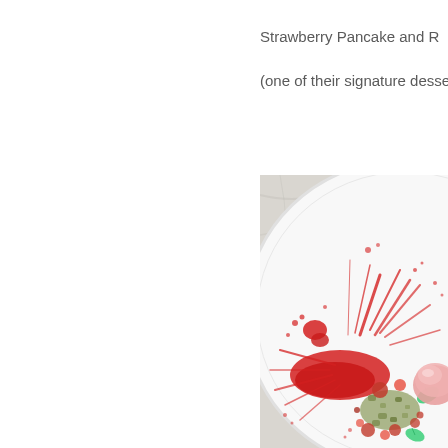Strawberry Pancake and R
(one of their signature desse
[Figure (photo): A close-up photo of a white plate with an artistic dessert presentation featuring red strawberry sauce splattered across the plate, freeze-dried strawberries, raspberries, pistachio crumble, mint leaves, and a scoop of pink ice cream, shot from above on a marble surface.]